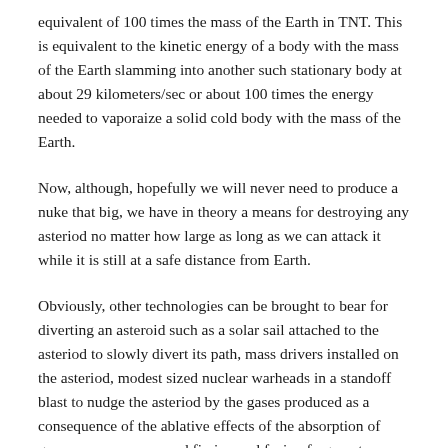equivalent of 100 times the mass of the Earth in TNT. This is equivalent to the kinetic energy of a body with the mass of the Earth slamming into another such stationary body at about 29 kilometers/sec or about 100 times the energy needed to vaporaize a solid cold body with the mass of the Earth.
Now, although, hopefully we will never need to produce a nuke that big, we have in theory a means for destroying any asteriod no matter how large as long as we can attack it while it is still at a safe distance from Earth.
Obviously, other technologies can be brought to bear for diverting an asteroid such as a solar sail attached to the asteriod to slowly divert its path, mass drivers installed on the asteriod, modest sized nuclear warheads in a standoff blast to nudge the asteriod by the gases produced as a consequence of the ablative effects of the absorption of gamma rays, x rays, and fission and fusion fragments produced by the blast by the surface material